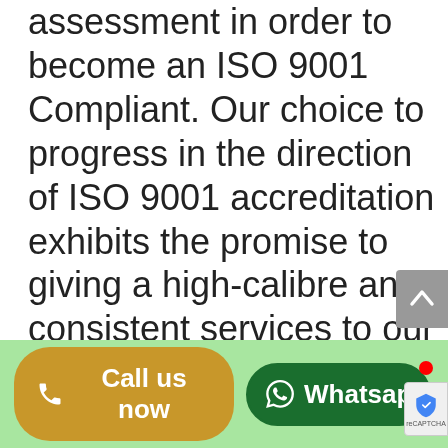assessment in order to become an ISO 9001 Compliant. Our choice to progress in the direction of ISO 9001 accreditation exhibits the promise to giving a high-calibre and consistent services to our customers and our continuous interest in innovation and improvement.
[Figure (other): Gray scroll-to-top button with upward chevron arrow on right side of page]
[Figure (other): Green footer bar with two buttons: a golden/yellow 'Call us now' button with phone icon, and a dark green 'Whatsapp' button with WhatsApp icon and red notification dot. reCAPTCHA badge visible on right edge.]